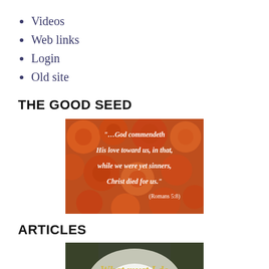Videos
Web links
Login
Old site
THE GOOD SEED
[Figure (photo): Orange roses background with white text quote: '...God commendeth His love toward us, in that, while we were yet sinners, Christ died for us.' (Romans 5:8)]
ARTICLES
[Figure (photo): Forest path with light, italic text overlay reading 'What must I do']